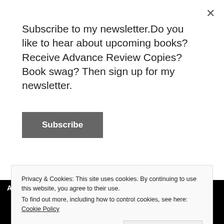Subscribe to my newsletter.Do you like to hear about upcoming books? Receive Advance Review Copies? Book swag? Then sign up for my newsletter.
Subscribe
AND 2019 AUTHOR SHOUT “RECOMMENDED READ”
Privacy & Cookies: This site uses cookies. By continuing to use this website, you agree to their use.
To find out more, including how to control cookies, see here: Cookie Policy
Close and accept